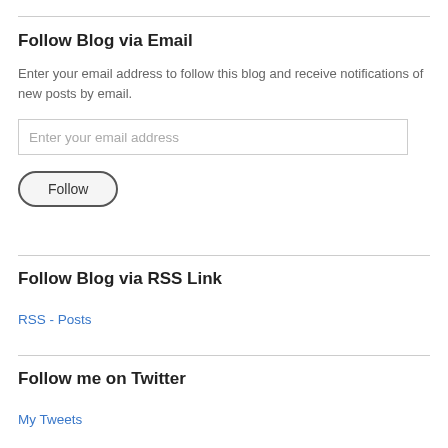Follow Blog via Email
Enter your email address to follow this blog and receive notifications of new posts by email.
Follow Blog via RSS Link
RSS - Posts
Follow me on Twitter
My Tweets